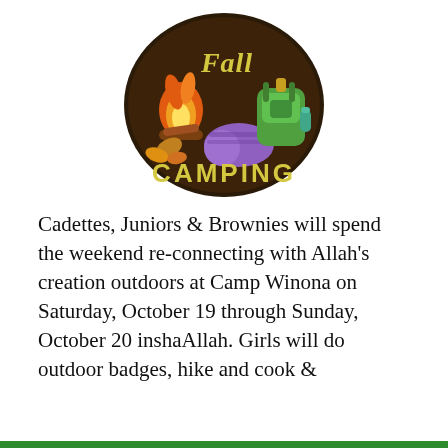[Figure (illustration): Fall Camping embroidered patch badge showing a campfire, backpack, sleeping bag, leaves, and the text 'Fall' in script and 'CAMPING' in bold yellow letters on a dark border.]
Cadettes, Juniors & Brownies will spend the weekend re-connecting with Allah's creation outdoors at Camp Winona on Saturday, October 19 through Sunday, October 20 inshaAllah. Girls will do outdoor badges, hike and cook &
Privacy & Cookies: This site uses cookies. By continuing to use this website, you agree to their use.
To find out more, including how to control cookies, see here: Cookie Policy
Close and accept